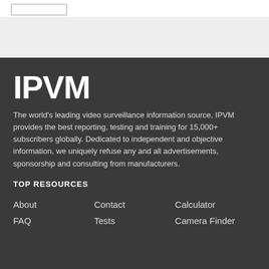IPVM
The world's leading video surveillance information source, IPVM provides the best reporting, testing and training for 15,000+ subscribers globally. Dedicated to independent and objective information, we uniquely refuse any and all advertisements, sponsorship and consulting from manufacturers.
TOP RESOURCES
About
Contact
Calculator
FAQ
Tests
Camera Finder